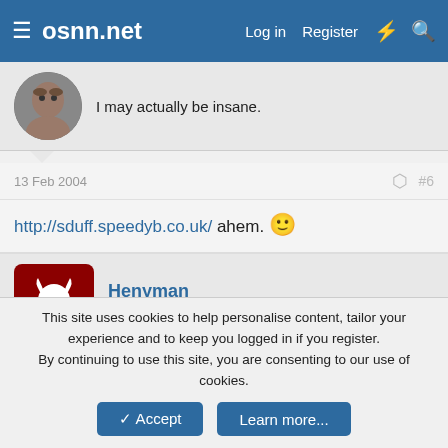osnn.net | Log in | Register
I may actually be insane.
13 Feb 2004  #6
http://sduff.speedyb.co.uk/ ahem. 🙂
Henyman
Secret Goat Fetish | Political Access
13 Feb 2004  #7
thats the one 😀 😎
This site uses cookies to help personalise content, tailor your experience and to keep you logged in if you register.
By continuing to use this site, you are consenting to our use of cookies.
✓ Accept   Learn more...